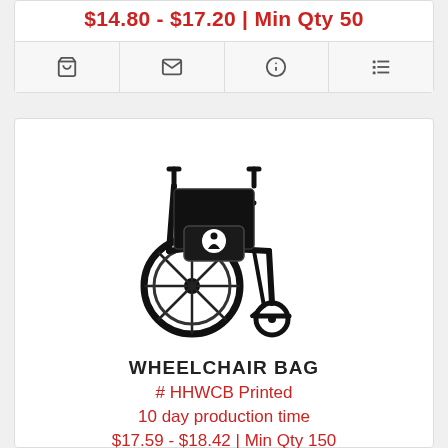$14.80 - $17.20 | Min Qty 50
[Figure (screenshot): Row of four icon buttons: shopping cart, envelope, info circle, list/menu]
[Figure (photo): Black wheelchair with a printed bag attached to the back]
WHEELCHAIR BAG
# HHWCB Printed
10 day production time
$17.59 - $18.42 | Min Qty 150